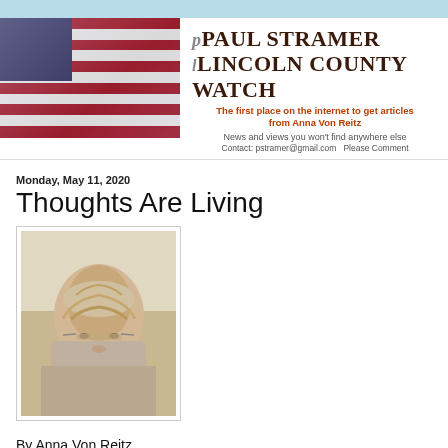[Figure (logo): Paul Stramer Lincoln County Watch website header with American flag image on the left and site title/tagline on the right]
Monday, May 11, 2020
Thoughts Are Living
[Figure (photo): Portrait photo of Anna Von Reitz, an older woman with short gray hair and glasses]
By Anna Von Reitz
“Shhh!” My Grandmother would say with some annoyance,